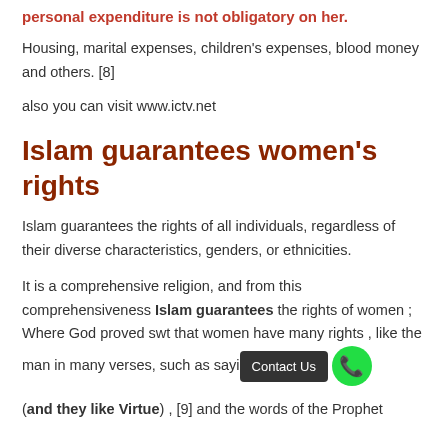personal expenditure is not obligatory on her.
Housing, marital expenses, children's expenses, blood money and others. [8]
also you can visit www.ictv.net
Islam guarantees women's rights
Islam guarantees the rights of all individuals, regardless of their diverse characteristics, genders, or ethnicities.
It is a comprehensive religion, and from this comprehensiveness Islam guarantees the rights of women ; Where God proved swt that women have many rights , like the man in many verses, such as saying [Contact Us button]
(and they like Virtue) , [9] and the words of the Prophet